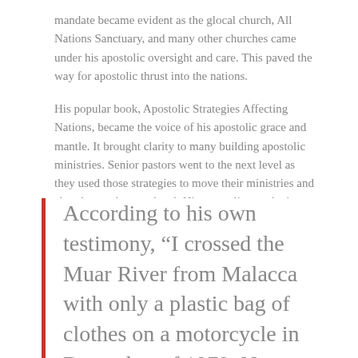mandate became evident as the glocal church, All Nations Sanctuary, and many other churches came under his apostolic oversight and care. This paved the way for apostolic thrust into the nations.
His popular book, Apostolic Strategies Affecting Nations, became the voice of his apostolic grace and mantle. It brought clarity to many building apostolic ministries. Senior pastors went to the next level as they used those strategies to move their ministries and churches to the next level. His apostolic-prophetic books are being used by scores of bible schools around the world. Hundreds of pastors now use his materials and revealed blueprints to rebuild their lives, churches, and their cities.
According to his own testimony, “I crossed the Muar River from Malacca with only a plastic bag of clothes on a motorcycle in December of 1979. Now, see what